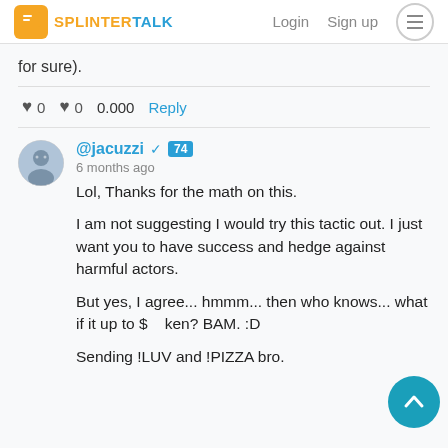SPLINTERTALK — Login  Sign up
for sure).
♥ 0   ♥ 0   0.000   Reply
[Figure (photo): Avatar photo of user jacuzzi]
@jacuzzi ✓ 74
6 months ago
Lol, Thanks for the math on this.

I am not suggesting I would try this tactic out. I just want you to have success and hedge against harmful actors.

But yes, I agree... hmmm... then who knows... what if it up to $...ken? BAM. :D

Sending !LUV and !PIZZA bro.